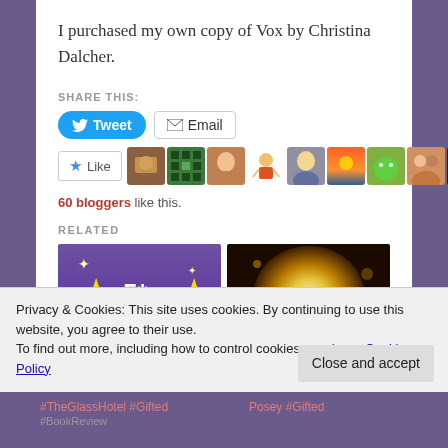I purchased my own copy of Vox by Christina Dalcher.
SHARE THIS:
Tweet | Email
Like | [avatar images]
60 bloggers like this.
RELATED
[Figure (photo): Purple background with two gold stars and '5*' text and 'Sund...' partial text]
[Figure (photo): Bright glowing golden light bokeh photo]
Privacy & Cookies: This site uses cookies. By continuing to use this website, you agree to their use.
To find out more, including how to control cookies, see here: Cookie Policy
Close and accept
#TheGlassHotel #Gifted #Posey #Gifted